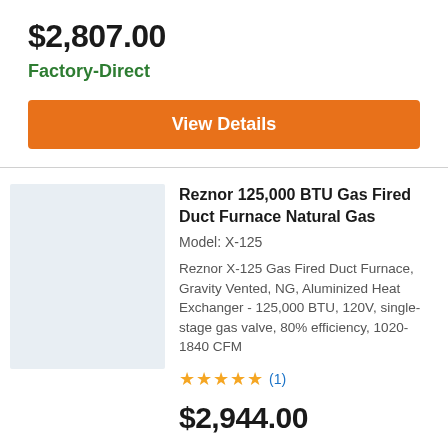$2,807.00
Factory-Direct
View Details
Reznor 125,000 BTU Gas Fired Duct Furnace Natural Gas
Model: X-125
Reznor X-125 Gas Fired Duct Furnace, Gravity Vented, NG, Aluminized Heat Exchanger - 125,000 BTU, 120V, single-stage gas valve, 80% efficiency, 1020-1840 CFM
★★★★★ (1)
$2,944.00